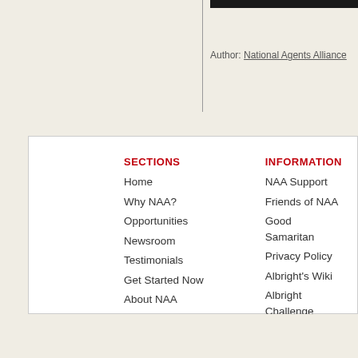Author: National Agents Alliance
SECTIONS
Home
Why NAA?
Opportunities
Newsroom
Testimonials
Get Started Now
About NAA
My NAA
Contact Us
Sitemap
INFORMATION
NAA Support
Friends of NAA
Good Samaritan
Privacy Policy
Albright's Wiki
Albright Challenge
Andy's Blog
Get Ship Together
President's Club
NAA Online Store